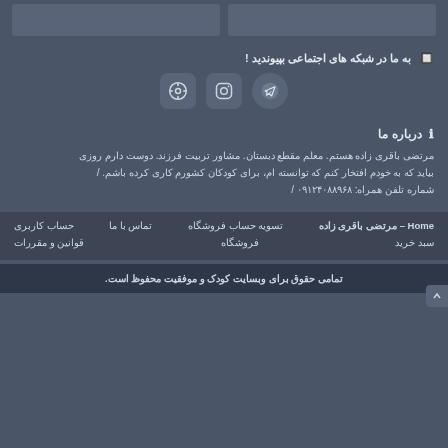[Figure (other): Two card/widget placeholders at top]
به ما در شبکه های اجتماعی بپیوندید !
[Figure (other): Social media icons: film/video, Instagram, Telegram]
درباره ما
مرتضی باقری زاده هستم. معلم مقطع دبستان. مشاور تربیت فرزند. دوست دارم روزی بیاید که به خودم افتخار کنم که توانسته ام، برای کودکان کشورم کاری کرده باشم. / شماره تلفن همراه: ۰۹۱۲۴۰۸۸۹۶۸ /
Home – مرتضی باقری زاده
تسویه حساب فروشگاه
تماس با ما
حساب کاربری
سبد خرید
فروشگاه
قوانین و مقررات
تمامی حقوق برای وبسایت کودک و موفقیت محفوظ است.